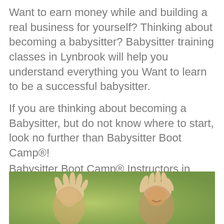Want to earn money while and building a real business for yourself? Thinking about becoming a babysitter? Babysitter training classes in Lynbrook will help you understand everything you Want to learn to be a successful babysitter.
If you are thinking about becoming a Babysitter, but do not know where to start, look no further than Babysitter Boot Camp®!
Babysitter Boot Camp® Instructors in Lynbrook, can help you get organized and teach all of this and more to you.
[Figure (photo): Photo of children with hands raised outdoors in a green blurred background, appearing joyful]